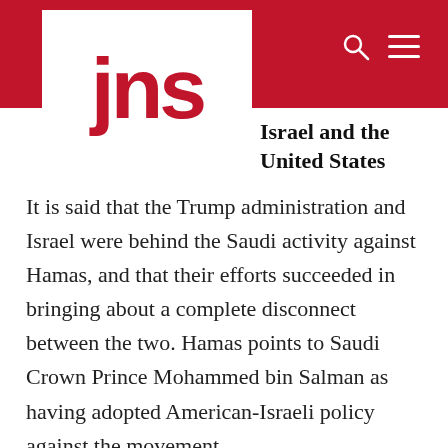jns
Israel and the United States
It is said that the Trump administration and Israel were behind the Saudi activity against Hamas, and that their efforts succeeded in bringing about a complete disconnect between the two. Hamas points to Saudi Crown Prince Mohammed bin Salman as having adopted American-Israeli policy against the movement.
On Sept. 12, 2019, senior Hamas figure Marwan Abu Ras told the Al-Khaleej Online website that Saudi Arabia was drawing closer to Israel and